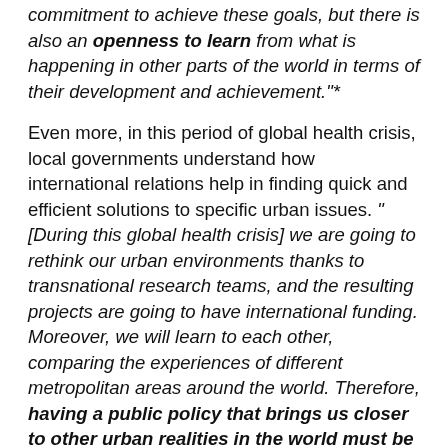commitment to achieve these goals, but there is also an openness to learn from what is happening in other parts of the world in terms of their development and achievement."*
Even more, in this period of global health crisis, local governments understand how international relations help in finding quick and efficient solutions to specific urban issues. "[During this global health crisis] we are going to rethink our urban environments thanks to transnational research teams, and the resulting projects are going to have international funding. Moreover, we will learn to each other, comparing the experiences of different metropolitan areas around the world. Therefore, having a public policy that brings us closer to other urban realities in the world must be a priority"* said Oriol Illa, Director of International Relations and Cooperation of the Metropolitan Area of Barcelona. And it is examining other urban experiences that the differences between metropolitan realities can be